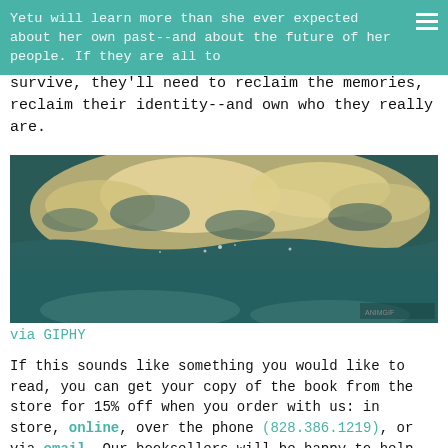Yetu will learn more than she ever expected about her own past--and about the future of her people. If they are all to
survive, they'll need to reclaim the memories, reclaim their identity--and own who they really are.
[Figure (photo): Underwater ocean photo showing light reflecting off water surface with sandy bottom below]
via GIPHY
If this sounds like something you would like to read, you can get your copy of the book from the store for 15% off when you order with us: in store, online, over the phone (828.386.1219), or via email. Our booksellers will be happy to help you get the